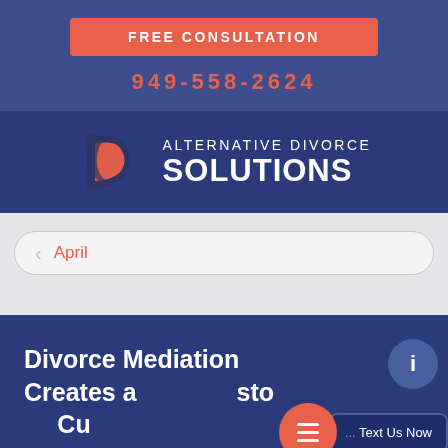FREE CONSULTATION
949-558-2624
[Figure (logo): Alternative Divorce Solutions logo with abstract D-shape icon in red and dark blue gradient, and company name in white uppercase text on dark blue background]
April
Divorce Mediation Creates a Custom...